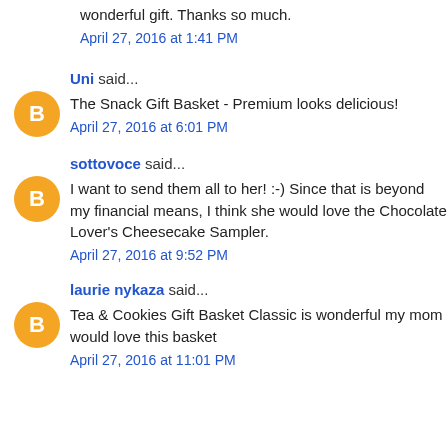wonderful gift. Thanks so much.
April 27, 2016 at 1:41 PM
Uni said...
The Snack Gift Basket - Premium looks delicious!
April 27, 2016 at 6:01 PM
sottovoce said...
I want to send them all to her! :-) Since that is beyond my financial means, I think she would love the Chocolate Lover's Cheesecake Sampler.
April 27, 2016 at 9:52 PM
laurie nykaza said...
Tea & Cookies Gift Basket Classic is wonderful my mom would love this basket
April 27, 2016 at 11:01 PM